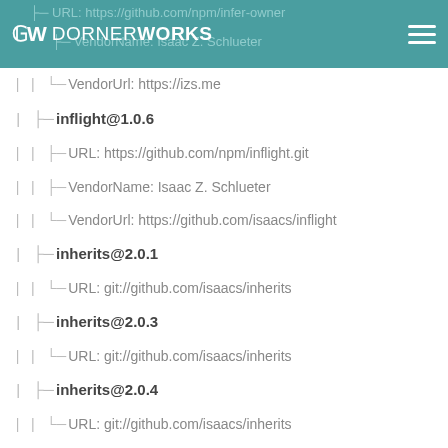DornerWorks
URL: https://github.com/npm/infer-owner
VendorName: Isaac Z. Schlueter
VendorUrl: https://izs.me
inflight@1.0.6
URL: https://github.com/npm/inflight.git
VendorName: Isaac Z. Schlueter
VendorUrl: https://github.com/isaacs/inflight
inherits@2.0.1
URL: git://github.com/isaacs/inherits
inherits@2.0.3
URL: git://github.com/isaacs/inherits
inherits@2.0.4
URL: git://github.com/isaacs/inherits
ini@1.3.8
URL: git://github.com/isaacs/ini.git
VendorName: Isaac Z. Schlueter